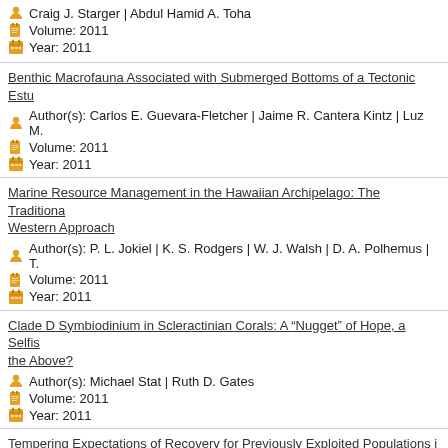Craig J. Starger | Abdul Hamid A. Toha
Volume: 2011
Year: 2011
Benthic Macrofauna Associated with Submerged Bottoms of a Tectonic Estu...
Author(s): Carlos E. Guevara-Fletcher | Jaime R. Cantera Kintz | Luz M. ...
Volume: 2011
Year: 2011
Marine Resource Management in the Hawaiian Archipelago: The Traditional... Western Approach
Author(s): P. L. Jokiel | K. S. Rodgers | W. J. Walsh | D. A. Polhemus | T. ...
Volume: 2011
Year: 2011
Clade D Symbiodinium in Scleractinian Corals: A “Nugget” of Hope, a Selfis... the Above?
Author(s): Michael Stat | Ruth D. Gates
Volume: 2011
Year: 2011
Tempering Expectations of Recovery for Previously Exploited Populations i...
Author(s): Jennifer K. Schultz | Joseph M. O'Malley | Elizabeth E. K... Randall K. Kosaki
Volume: 2011
Year: 2011